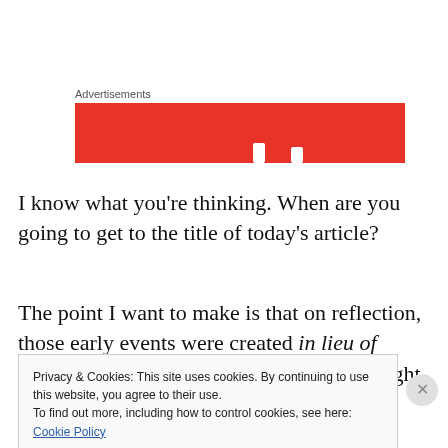Advertisements
[Figure (other): Red advertisement banner block with white notch shapes at the bottom]
I know what you’re thinking. When are you going to get to the title of today’s article?
The point I want to make is that on reflection, those early events were created in lieu of church planting. The people who today might be scouting for community centers and
Privacy & Cookies: This site uses cookies. By continuing to use this website, you agree to their use.
To find out more, including how to control cookies, see here: Cookie Policy
Close and accept